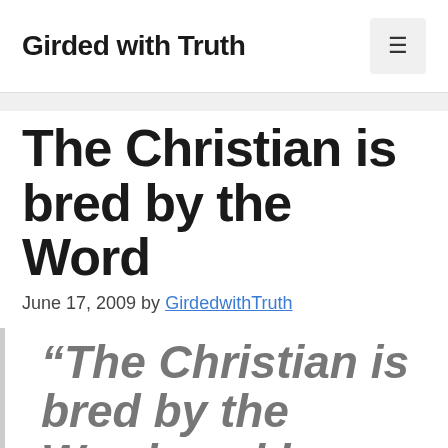Girded with Truth
The Christian is bred by the Word
June 17, 2009 by GirdedwithTruth
“The Christian is bred by the Word, and he